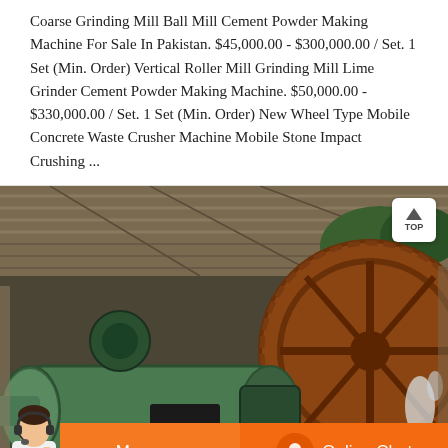Coarse Grinding Mill Ball Mill Cement Powder Making Machine For Sale In Pakistan. $45,000.00 - $300,000.00 / Set. 1 Set (Min. Order) Vertical Roller Mill Grinding Mill Lime Grinder Cement Powder Making Machine. $50,000.00 - $330,000.00 / Set. 1 Set (Min. Order) New Wheel Type Mobile Concrete Waste Crusher Machine Mobile Stone Impact Crushing ...
[Figure (photo): Industrial ball mill machinery — large green cylindrical mill with gears and a massive rust-colored flywheel, photographed under a corrugated roof structure outdoors.]